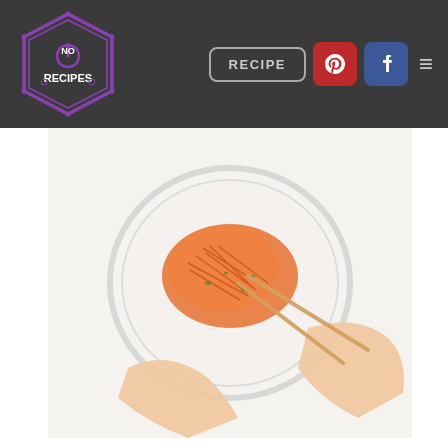No Recipes — RECIPE
[Figure (photo): Overhead view of hands using chopsticks to mix shredded carrots in a clear glass bowl on a white surface.]
For Chicken Soboro
In a non-stick frying pan, mix the chicken, sake, soy sauce, sugar and ginger juice, breaking up any clumps of ground chicken as you go.
[Figure (photo): Partial view of a bowl of rice or ground chicken mixture at the bottom of the page.]